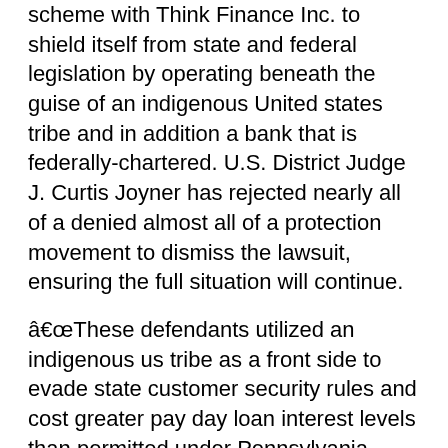scheme with Think Finance Inc. to shield itself from state and federal legislation by operating beneath the guise of an indigenous United states tribe and in addition a bank that is federally-chartered. U.S. District Judge J. Curtis Joyner has rejected nearly all of a denied almost all of a protection movement to dismiss the lawsuit, ensuring the full situation will continue.
â€œThese defendants utilized an indigenous us tribe as a front side to evade state customer security rules and cost greater pay day loan interest levels than permitted under Pennsylvania legislation,â€ Attorney General Shapiro said. â€œWe filed suit to carry them accountable, weâ€™re pleased utilizing the courtâ€™s ruling, and today our situation moves forward.â€
Victory Park argued that since it had no real tie to Pennsylvania and all sorts of the activities it took part in